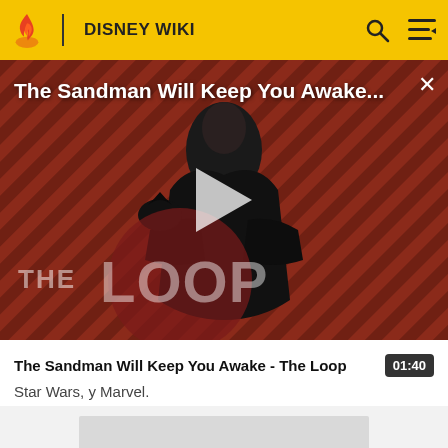DISNEY WIKI
[Figure (screenshot): Video thumbnail showing a figure in black cape on a red diagonal-striped background, with THE LOOP watermark, play button overlay, and title 'The Sandman Will Keep You Awake...']
The Sandman Will Keep You Awake - The Loop
Star Wars, y Marvel.